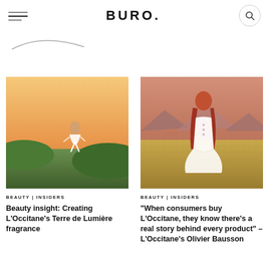BURO.
[Figure (photo): Woman in white dress running/dancing on a hillside at golden sunset]
BEAUTY | INSIDERS
Beauty insight: Creating L'Occitane's Terre de Lumière fragrance
[Figure (photo): Young woman with long red hair in white dress standing in a wheat field at sunset with mountains in background]
BEAUTY | INSIDERS
"When consumers buy L'Occitane, they know there's a real story behind every product" – L'Occitane's Olivier Bausson